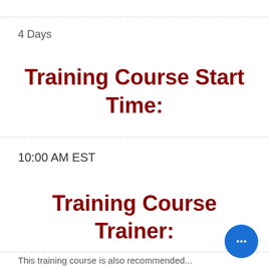4 Days
Training Course Start Time:
10:00 AM EST
Training Course Trainer:
This training course is also recommended...